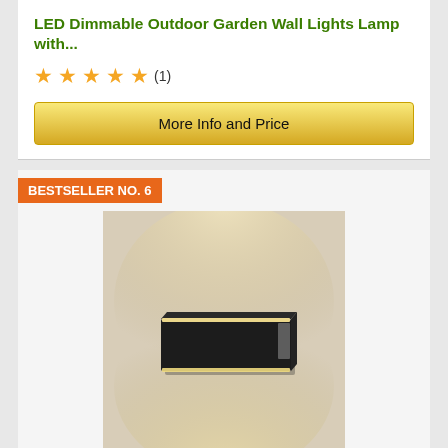LED Dimmable Outdoor Garden Wall Lights Lamp with...
★★★★★ (1)
More Info and Price
BESTSELLER NO. 6
[Figure (photo): A black rectangular LED outdoor wall light mounted on a wall, emitting warm white light upward and downward, creating dramatic wall wash lighting effect against a light grey background.]